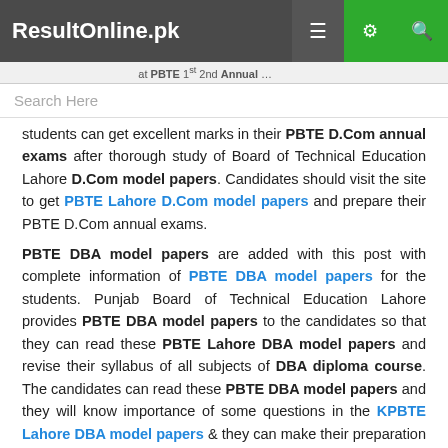ResultOnline.pk
Search Here
students can get excellent marks in their PBTE D.Com annual exams after thorough study of Board of Technical Education Lahore D.Com model papers. Candidates should visit the site to get PBTE Lahore D.Com model papers and prepare their PBTE D.Com annual exams.
PBTE DBA model papers are added with this post with complete information of PBTE DBA model papers for the students. Punjab Board of Technical Education Lahore provides PBTE DBA model papers to the candidates so that they can read these PBTE Lahore DBA model papers and revise their syllabus of all subjects of DBA diploma course. The candidates can read these PBTE DBA model papers and they will know importance of some questions in the KPBTE Lahore DBA model papers & they can make their preparation well to get excellent marks in the annual exams. The candidates can visit the site to check KPBTE DBA model papers of all subjects.
Close x
0 Share | 2 WhatsApp | 0 Tweet | 0 Share | 0 Pin | 0 Reddit